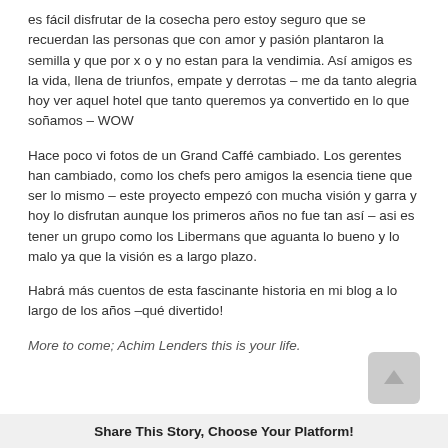es fácil disfrutar de la cosecha pero estoy seguro que se recuerdan las personas que con amor y pasión plantaron la semilla y que por x o y no estan para la vendimia. Así amigos es la vida, llena de triunfos, empate y derrotas – me da tanto alegria hoy ver aquel hotel que tanto queremos ya convertido en lo que soñamos – WOW
Hace poco vi fotos de un Grand Caffé cambiado. Los gerentes han cambiado, como los chefs pero amigos la esencia tiene que ser lo mismo – este proyecto empezó con mucha visión y garra y hoy lo disfrutan aunque los primeros años no fue tan así – asi es tener un grupo como los Libermans que aguanta lo bueno y lo malo ya que la visión es a largo plazo.
Habrá más cuentos de esta fascinante historia en mi blog a lo largo de los años –qué divertido!
More to come; Achim Lenders this is your life.
Share This Story, Choose Your Platform!